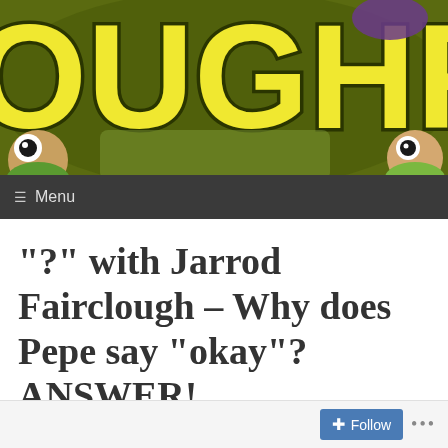[Figure (illustration): Website header banner showing partial yellow cartoon-style letters spelling part of a word (visible: OUGHF) on an olive/dark green background, with puppet characters partially visible at the bottom]
[Figure (screenshot): Navigation bar with dark gray background showing hamburger menu icon and 'Menu' text]
"?" with Jarrod Fairclough – Why does Pepe say "okay"? ANSWER!
Follow ...